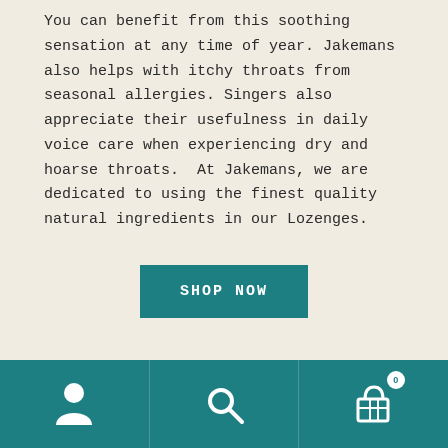You can benefit from this soothing sensation at any time of year. Jakemans also helps with itchy throats from seasonal allergies. Singers also appreciate their usefulness in daily voice care when experiencing dry and hoarse throats.  At Jakemans, we are dedicated to using the finest quality natural ingredients in our Lozenges.
[Figure (other): SHOP NOW button — teal/dark cyan rectangle with white uppercase text]
[Figure (other): Zigzag decorative divider separating main content from product image area]
[Figure (other): Bottom navigation bar with teal background containing user account icon, search icon, and shopping cart icon with badge showing 0]